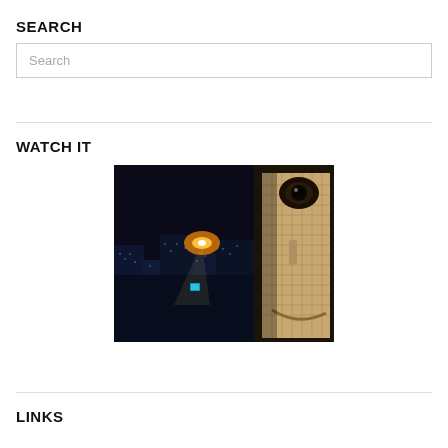SEARCH
Search
[Figure (photo): A dark science-fiction city nightscape with a large face of a humanoid figure on the right side, resembling a scene from Blade Runner. The city skyline is lit with blue and orange lights, flying vehicles visible in the background.]
WATCH IT
LINKS